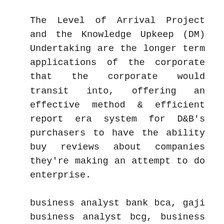The Level of Arrival Project and the Knowledge Upkeep (DM) Undertaking are the longer term applications of the corporate that the corporate would transit into, offering an effective method & efficient report era system for D&B's purchasers to have the ability buy reviews about companies they're making an attempt to do enterprise.
business analyst bank bca, gaji business analyst bcg, business analyst job description in banking
Evalueserve is a global skilled providers provider providing analysis, analytics, and knowledge administration services. Business analysts are wanted in all industries, whether banking, telecommunication, software program or pharmaceutical. Our business and analysis